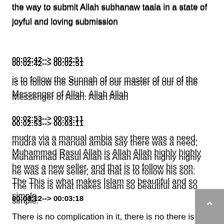the way to submit Allah subhanaw taala in a state of joyful and loving submission
00:02:42--> 00:02:51
is to follow the Sunnah of our master of our of the Messenger of Allah. Allah Allah
00:02:53--> 00:03:11
mudra via a manual ambia say there was a need, Muhammad Rasul Allah is Allah Allah highly highly he was a new seller, and that is to follow his son. The This is what makes Islam so beautiful and so simple.
00:03:12--> 00:03:18
There is no complication in it, there is no there is not even a need for